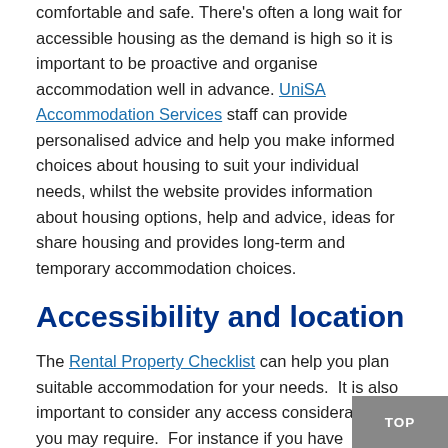comfortable and safe. There's often a long wait for accessible housing as the demand is high so it is important to be proactive and organise accommodation well in advance. UniSA Accommodation Services staff can provide personalised advice and help you make informed choices about housing to suit your individual needs, whilst the website provides information about housing options, help and advice, ideas for share housing and provides long-term and temporary accommodation choices.
Accessibility and location
The Rental Property Checklist can help you plan suitable accommodation for your needs.  It is also important to consider any access considerations you may require.  For instance if you have difficulties with mobility you may want to check whether the house has a lot of stairs or whether there is parking on site or nearby.  It is important to be aware of regularity of public transport services in your area especially at night and in weekends. This can be done through the Adelaide Metro website.